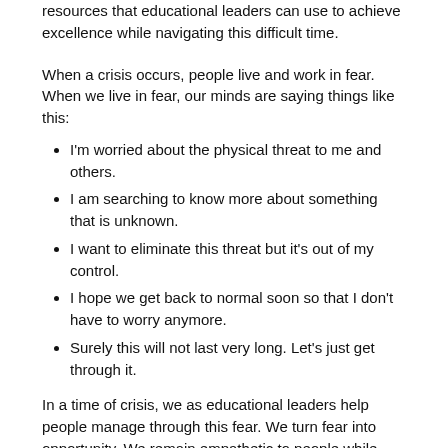resources that educational leaders can use to achieve excellence while navigating this difficult time.
When a crisis occurs, people live and work in fear. When we live in fear, our minds are saying things like this:
I'm worried about the physical threat to me and others.
I am searching to know more about something that is unknown.
I want to eliminate this threat but it's out of my control.
I hope we get back to normal soon so that I don't have to worry anymore.
Surely this will not last very long. Let's just get through it.
In a time of crisis, we as educational leaders help people manage through this fear. We turn fear into opportunity. We remain empathetic to people while taking specific actions to instill confidence that we can produce high performing results in these unpredictable times.
How do we do it?